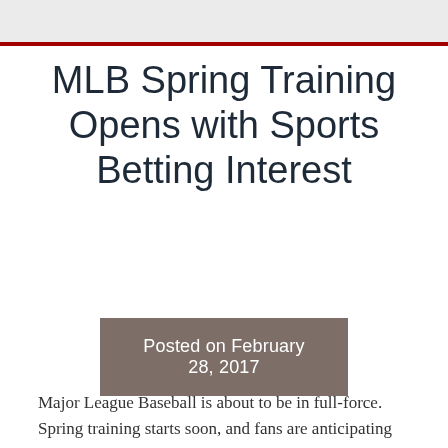MLB Spring Training Opens with Sports Betting Interest
Posted on February 28, 2017
Major League Baseball is about to be in full-force. Spring training starts soon, and fans are anticipating another exciting season. Aside from